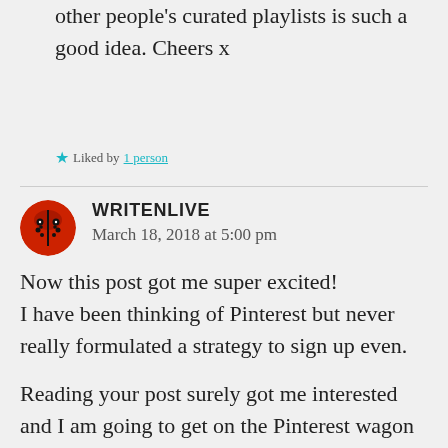other people's curated playlists is such a good idea. Cheers x
Liked by 1 person
WRITENLIVE
March 18, 2018 at 5:00 pm
Now this post got me super excited! I have been thinking of Pinterest but never really formulated a strategy to sign up even.
Reading your post surely got me interested and I am going to get on the Pinterest wagon asap.